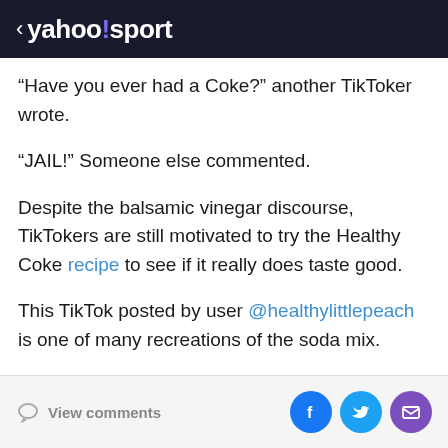< yahoo!/sport
“Have you ever had a Coke?” another TikToker wrote.
“JAIL!” Someone else commented.
Despite the balsamic vinegar discourse, TikTokers are still motivated to try the Healthy Coke recipe to see if it really does taste good.
This TikTok posted by user @healthylittlepeach is one of many recreations of the soda mix.
View comments